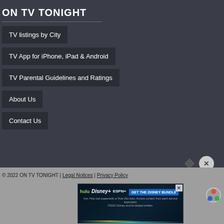ON TV TONIGHT
TV listings by City
TV App for iPhone, iPad & Android
TV Parental Guidelines and Ratings
About Us
Contact Us
© 2022 ON TV TONIGHT | Legal Notices | Privacy Policy
[Figure (screenshot): Disney Bundle advertisement banner showing Hulu, Disney+, and ESPN+ logos with text 'GET THE DISNEY BUNDLE'. Fine print reads: Incl. Hulu (ad-supported) or Hulu (No Ads). Access content from each service separately. ©2021 Disney and its related entities.]